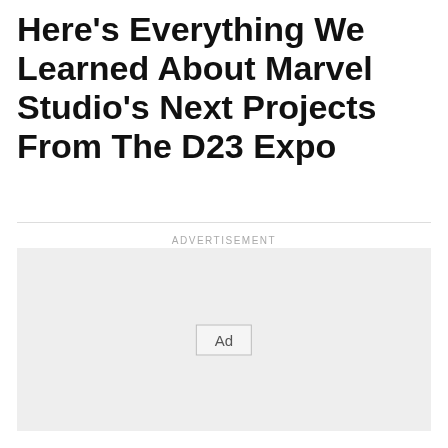Here's Everything We Learned About Marvel Studio's Next Projects From The D23 Expo
ADVERTISEMENT
[Figure (other): Advertisement placeholder box with 'Ad' button in the center]